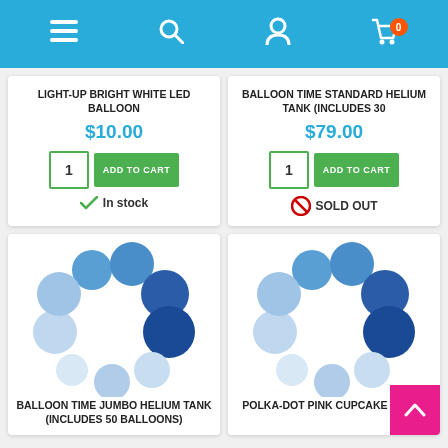[Figure (screenshot): E-commerce website header with navigation icons: hamburger menu, search, user account, and shopping cart with orange badge showing 0]
LIGHT-UP BRIGHT WHITE LED BALLOON
$10.00
1  ADD TO CART
✓ In stock
BALLOON TIME STANDARD HELIUM TANK (INCLUDES 30
$79.00
1  ADD TO CART
🚫 SOLD OUT
[Figure (illustration): Loading spinner made of blue dots in circular arrangement, varying shades from light to dark blue]
BALLOON TIME JUMBO HELIUM TANK (INCLUDES 50 BALLOONS)
[Figure (illustration): Loading spinner made of blue dots in circular arrangement, varying shades from light to dark blue]
POLKA-DOT PINK CUPCAKE STAND